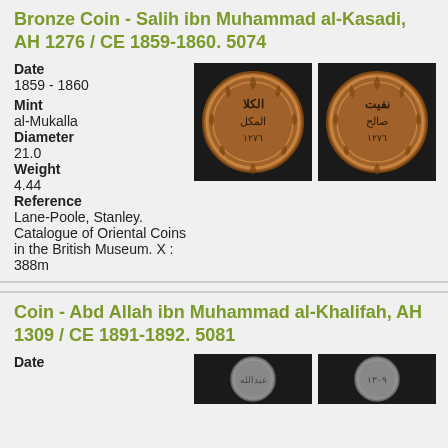Bronze Coin - Salih ibn Muhammad al-Kasadi, AH 1276 / CE 1859-1860. 5074
Date
1859 - 1860
[Figure (photo): Obverse of bronze coin showing Arabic inscriptions within a wreath border]
[Figure (photo): Reverse of bronze coin showing Arabic inscriptions within a wreath border]
Mint
al-Mukalla
Diameter
21.0
Weight
4.44
Reference
Lane-Poole, Stanley. Catalogue of Oriental Coins in the British Museum. X : 388m
Coin - Abd Allah ibn Muhammad al-Khalifah, AH 1309 / CE 1891-1892. 5081
Date
[Figure (photo): Obverse of coin, partially visible]
[Figure (photo): Reverse of coin, partially visible]